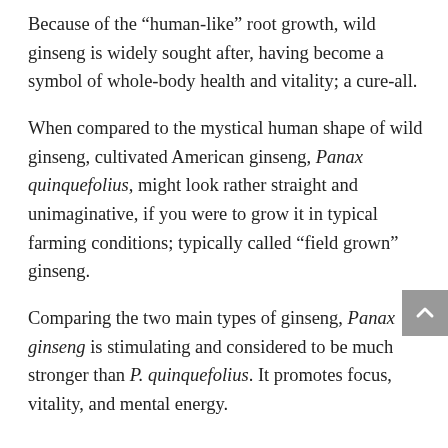Because of the “human-like” root growth, wild ginseng is widely sought after, having become a symbol of whole-body health and vitality; a cure-all.
When compared to the mystical human shape of wild ginseng, cultivated American ginseng, Panax quinquefolius, might look rather straight and unimaginative, if you were to grow it in typical farming conditions; typically called “field grown” ginseng.
Comparing the two main types of ginseng, Panax ginseng is stimulating and considered to be much stronger than P. quinquefolius. It promotes focus, vitality, and mental energy.